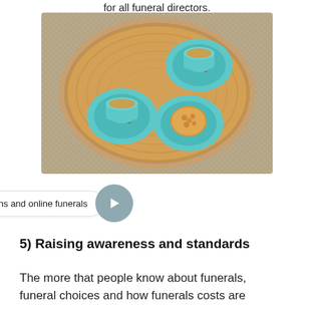for all funeral directors.
[Figure (photo): Overhead view of three teal/turquoise floral-patterned cups and saucers arranged in a circular wooden bowl on a woven mat background. Two cups contain tea/coffee, one saucer holds a biscuit.]
Tributes, donations and online funerals
5) Raising awareness and standards
The more that people know about funerals, funeral choices and how funerals costs are